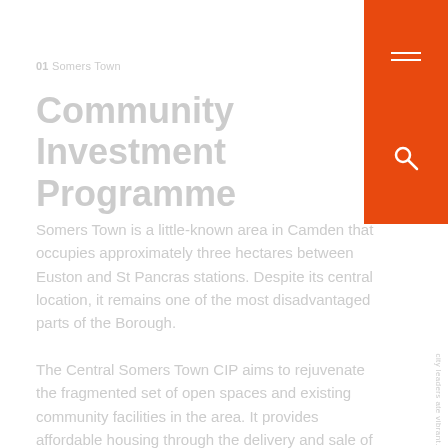01 Somers Town
Community Investment Programme
Somers Town is a little-known area in Camden that occupies approximately three hectares between Euston and St Pancras stations. Despite its central location, it remains one of the most disadvantaged parts of the Borough.
The Central Somers Town CIP aims to rejuvenate the fragmented set of open spaces and existing community facilities in the area. It provides affordable housing through the delivery and sale of
[Figure (other): Orange navigation block in top-right corner with hamburger menu icon and search icon]